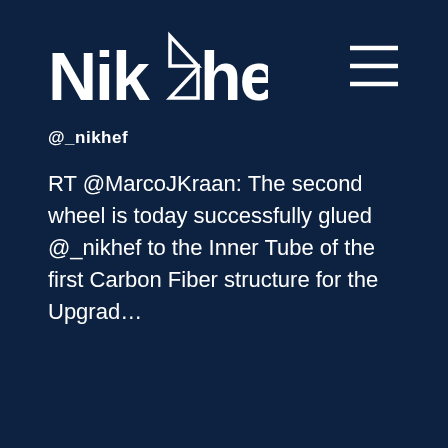[Figure (logo): Nikhef logo — stylized text 'Nikhef' with a geometric hourglass/bowtie symbol between Nik and hef, white on dark blue background]
@_nikhef
RT @MarcoJKraan: The second wheel is today successfully glued @_nikhef to the Inner Tube of the first Carbon Fiber structure for the Upgrad…
[Figure (other): Hamburger menu icon — three horizontal white lines stacked, top right corner]